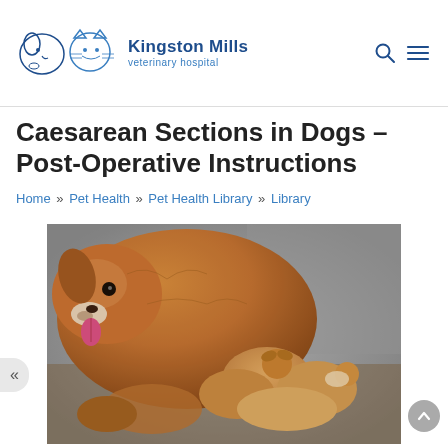Kingston Mills veterinary hospital
Caesarean Sections in Dogs – Post-Operative Instructions
Home » Pet Health » Pet Health Library » Library
[Figure (photo): A golden/red-coated dog lying down nursing several newborn puppies]
A caesarean section, or C section, is major